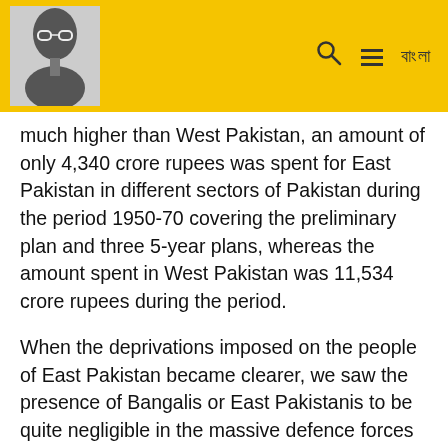[Header with photo and navigation icons]
much higher than West Pakistan, an amount of only 4,340 crore rupees was spent for East Pakistan in different sectors of Pakistan during the period 1950-70 covering the preliminary plan and three 5-year plans, whereas the amount spent in West Pakistan was 11,534 crore rupees during the period.
When the deprivations imposed on the people of East Pakistan became clearer, we saw the presence of Bangalis or East Pakistanis to be quite negligible in the massive defence forces structure built during the first 23 years of Pakistan's existence. The headquarters of all the forces of Pakistan were in West Pakistan.